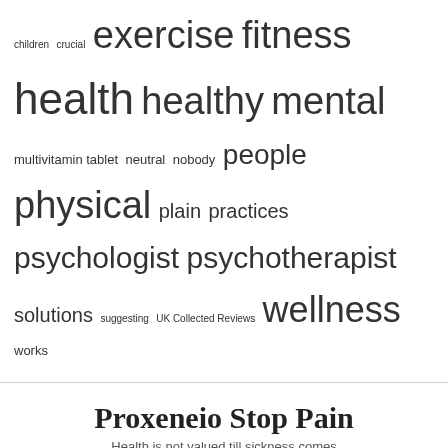children crucial exercise fitness health healthy mental multivitamin tablet neutral nobody people physical plain practices psychologist psychotherapist solutions suggesting UK Collected Reviews wellness works
Proxeneio Stop Pain
Health is not valued till sickness comes
Copyright © 2022 Proxeneio Stop Pain | Theme by: Theme Horse | Proudly Powered by: WordPress